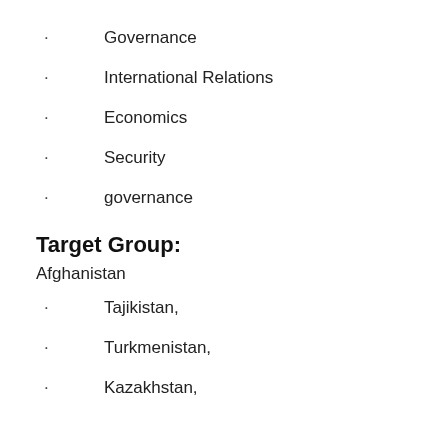Governance
International Relations
Economics
Security
governance
Target Group:
Afghanistan
Tajikistan,
Turkmenistan,
Kazakhstan,